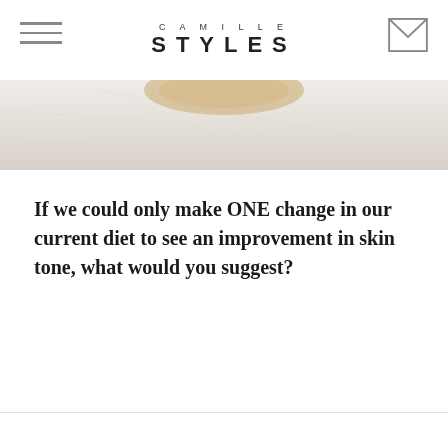CAMILLE STYLES
[Figure (photo): Top portion of a food/lifestyle photo showing a marble surface with a wooden bowl, cropped at the top of the page]
If we could only make ONE change in our current diet to see an improvement in skin tone, what would you suggest?